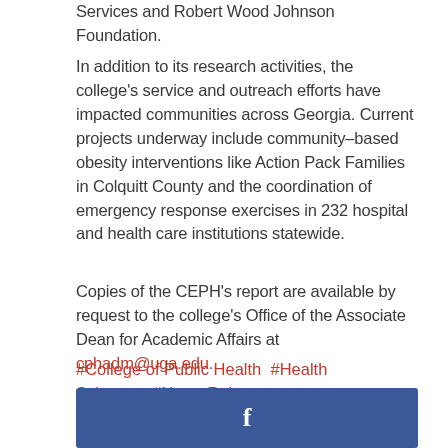Services and Robert Wood Johnson Foundation.
In addition to its research activities, the college's service and outreach efforts have impacted communities across Georgia. Current projects underway include community-based obesity interventions like Action Pack Families in Colquitt County and the coordination of emergency response exercises in 232 hospital and health care institutions statewide.
Copies of the CEPH's report are available by request to the college's Office of the Associate Dean for Academic Affairs at cphadm@uga.edu.
#College of Public Health  #Health Sciences  #News Release
[Figure (other): Facebook social media button bar in blue with white 'f' icon]